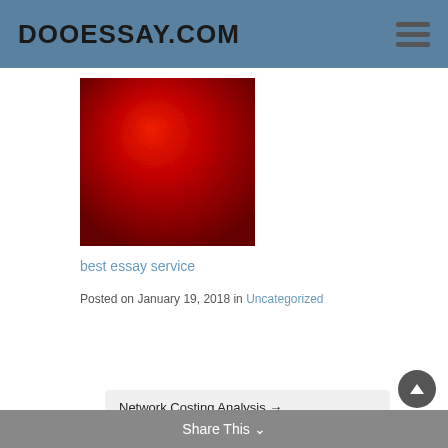DOOESSAY.COM
[Figure (photo): Red gradient square image used as blog post thumbnail]
best essay service
Posted on January 19, 2018 in Uncategorized
Network Costing Analysis →
← JavaBeans
Share This